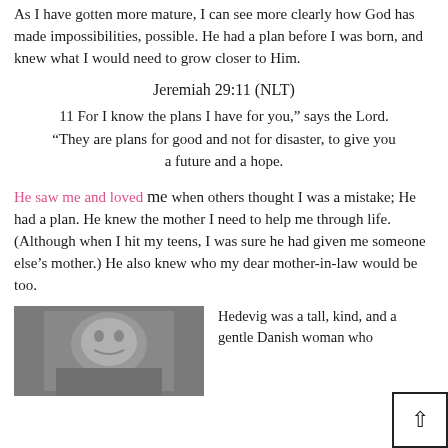As I have gotten more mature, I can see more clearly how God has made impossibilities, possible. He had a plan before I was born, and knew what I would need to grow closer to Him.
Jeremiah 29:11 (NLT)
11 For I know the plans I have for you," says the Lord. "They are plans for good and not for disaster, to give you a future and a hope.
He saw me and loved me when others thought I was a mistake; He had a plan. He knew the mother I need to help me through life. (Although when I hit my teens, I was sure he had given me someone else's mother.) He also knew who my dear mother-in-law would be too.
[Figure (photo): Black and white photograph of a person, partially visible]
Hedevig was a tall, kind, and a gentle Danish woman who